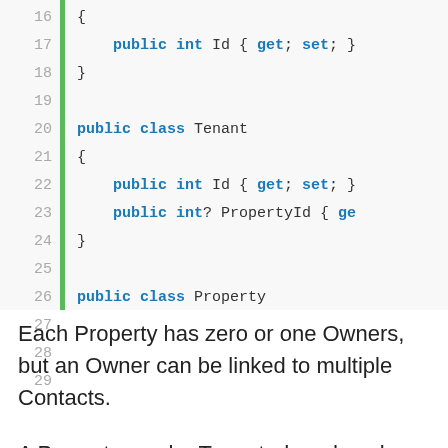[Figure (screenshot): Code snippet showing C# class definitions for Tenant and Property with public int Id, PropertyId, and OwnerId properties, lines 16-29]
Each Property has zero or one Owners, but an Owner can be linked to multiple Contacts.
A Property can be Tenanted, and each Tenant can be linked to multiple Contacts.